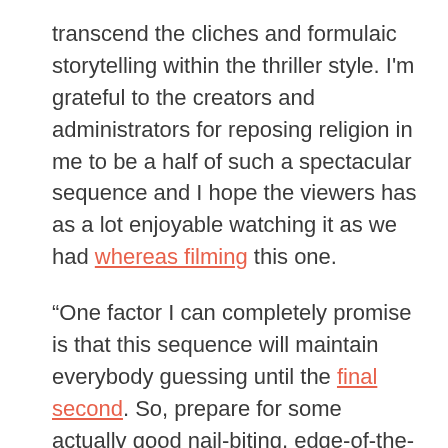transcend the cliches and formulaic storytelling within the thriller style. I'm grateful to the creators and administrators for reposing religion in me to be a half of such a spectacular sequence and I hope the viewers has as a lot enjoyable watching it as we had whereas filming this one.
“One factor I can completely promise is that this sequence will maintain everybody guessing until the final second. So, prepare for some actually good nail-biting, edge-of-the-seat drama!”